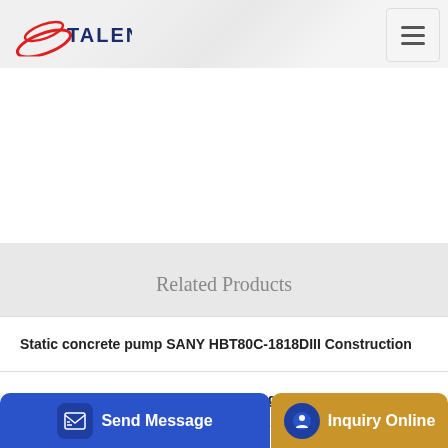TALENET
Related Products
Static concrete pump SANY HBT80C-1818DIII Construction
Tylers Professional Concrete Pumping LLC in Lake Wales FL
Send Message | Inquiry Online